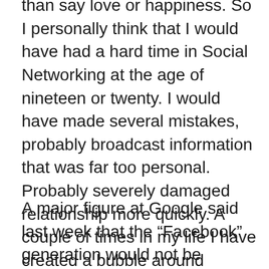than say love or happiness. So I personally think that I would have had a hard time in Social Networking at the age of nineteen or twenty. I would have made several mistakes, probably broadcast information that was far too personal. Probably severely damaged relationship more quickly. A couple of times in my life I have created a bubble around myself. Cut myself off from everyone to allow deep “wounds” to heal. Would this have been possible today? Would that be a bad thing?
A major figure at Google said last week that the “Facebook” generation would not be embarrassed by the huge amount of information relating to their exploits in their youth that is permanently available on the Internet now. They will simply learn to ignore it and quite quite simply not care.Would I be able to do that? I doubt it. I have many regrets and many moments of joy in my life but